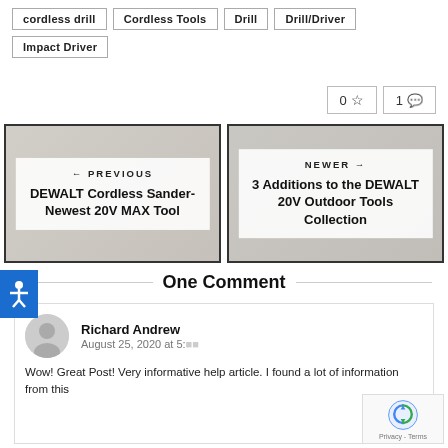cordless drill
Cordless Tools
Drill
Drill/Driver
Impact Driver
0 ☆  1 💬
[Figure (other): Previous article navigation card: DEWALT Cordless Sander- Newest 20V MAX Tool]
[Figure (other): Newer article navigation card: 3 Additions to the DEWALT 20V Outdoor Tools Collection]
One Comment
Richard Andrew  August 25, 2020 at 5:  Wow! Great Post! Very informative help article. I found a lot of information from this